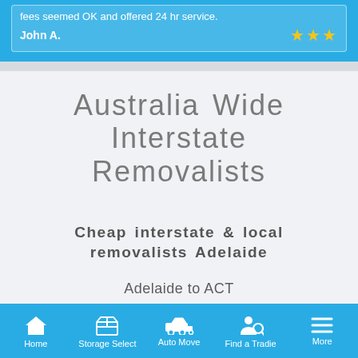fees seemed OK and offered 24 hr service.
John A. ★★★
Australia Wide Interstate Removalists
Cheap interstate & local removalists Adelaide
Adelaide to ACT
Adelaide to Albury
Adelaide to Alice Springs
Home | Storage Select | Auto Move | Find a Tradie | More